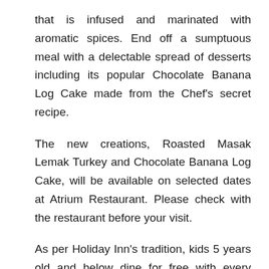that is infused and marinated with aromatic spices. End off a sumptuous meal with a delectable spread of desserts including its popular Chocolate Banana Log Cake made from the Chef's secret recipe.
The new creations, Roasted Masak Lemak Turkey and Chocolate Banana Log Cake, will be available on selected dates at Atrium Restaurant. Please check with the restaurant before your visit.
As per Holiday Inn's tradition, kids 5 years old and below dine for free with every paying adult. What's more, celebrate this festive season with a good cheer, Santa Claus will appear at Atrium Restaurant on the following dates with a little gift on the following